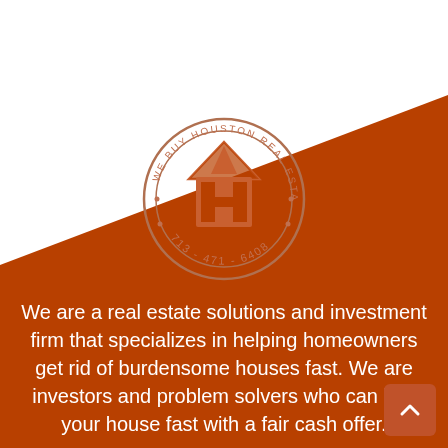[Figure (logo): We Buy Houston Real Estate circular logo with house/H icon and phone number 713-471-6408]
We are a real estate solutions and investment firm that specializes in helping homeowners get rid of burdensome houses fast. We are investors and problem solvers who can buy your house fast with a fair cash offer.